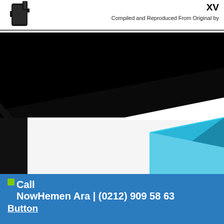XV
Compiled and Reproduced From Original by
[Figure (photo): Partial view of a black electronic device or tool in the top-left corner of the header area]
[Figure (photo): Large black diagonal angled banner or background graphic spanning the upper middle portion of the page, with a large white/light area below it and a cyan/teal 3D box shape in the lower right]
Call Now Hemen Ara | (0212) 909 58 63
Button